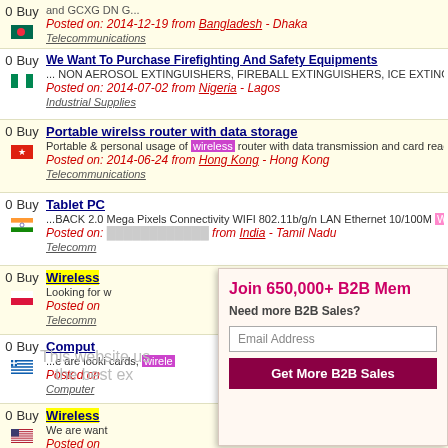Posted on: 2014-12-19 from Bangladesh - Dhaka
Telecommunications
We Want To Purchase Firefighting And Safety Equipments
... NON AEROSOL EXTINGUISHERS, FIREBALL EXTINGUISHERS, ICE EXTINGUISHERS, SMOKE DETECTORS, WIRELESS SMOKE DETECTORS, GSM ALARM SYSTEMS, FIRE TRUC
Posted on: 2014-07-02 from Nigeria - Lagos
Industrial Supplies
Portable wirelss router with data storage
Portable & personal usage of wireless router with data transmission and card reader func
Posted on: 2014-06-24 from Hong Kong - Hong Kong
Telecommunications
Tablet PC
...BACK 2.0 Mega Pixels Connectivity WIFI 802.11b/g/n LAN Ethernet 10/100M Wireless Bluetooth v4.0+EDR, +v1.2 3G MODELS GSM/GPRS/EDGE 85...
Posted on: [obscured] from India - Tamil Nadu
Telecomm[unications]
Wireless [obscured]
Looking for w[ireless...]
Posted on: [obscured]
Telecomm[unications]
Comput[er...]
...e are looki[ng...] cards, wirele[ss...]
Posted on: [obscured]
Computer [...]
Wireless [...]
We are want[ing...]
Posted on: [...]
Consumer [...]
[Figure (screenshot): B2B membership popup overlay showing 'Join 650,000+ B2B Members', 'Need more B2B Sales?', Email Address input, and 'Get More B2B Sales' button]
This website uses cookies to ensure you get the best ex[perience]